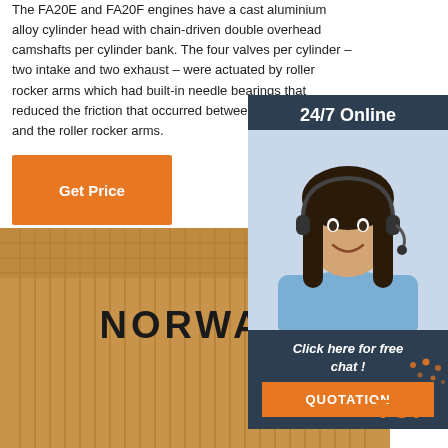The FA20E and FA20F engines have a cast aluminium alloy cylinder head with chain-driven double overhead camshafts per cylinder bank. The four valves per cylinder – two intake and two exhaust – were actuated by roller rocker arms which had built-in needle bearings that reduced the friction that occurred between the camshafts and the roller rocker arms.
[Figure (other): Orange 'Get Price' button]
[Figure (other): Sidebar widget showing '24/7 Online' text, a photo of a female customer support agent with headset, 'Click here for free chat!' text, and an orange 'QUOTATION' button on a dark blue background]
[Figure (photo): Photo of a tan/brown corduroy cap with 'NORWAY' text embroidered on the brim, photographed from above at an angle]
[Figure (other): Orange and dotted 'TOP' badge/button in the bottom right corner]